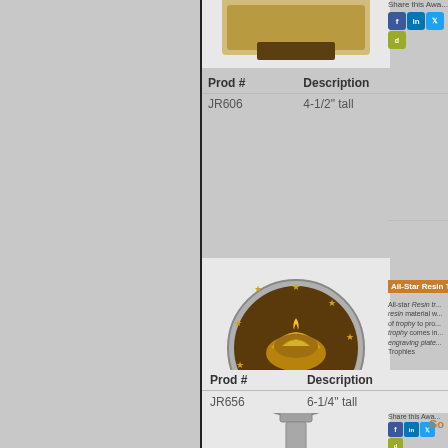[Figure (photo): Partial trophy/plaque image visible at top of right panel]
Share this Awa...
| Prod # | Description |
| --- | --- |
| JR606 | 4-1/2" tall |
[Figure (photo): All-Star Resin Trophy with lamp of knowledge medallion on circular base, gold engraving plate on black base]
All-Star Resin T...
All-star Resin tr... resin material w... of trophy to pro... trophy comes in... engraving plate... Trophies
Production lead...
Share this Awa...
| Prod # | Description |
| --- | --- |
| JR656 | 6-1/4" tall |
Go